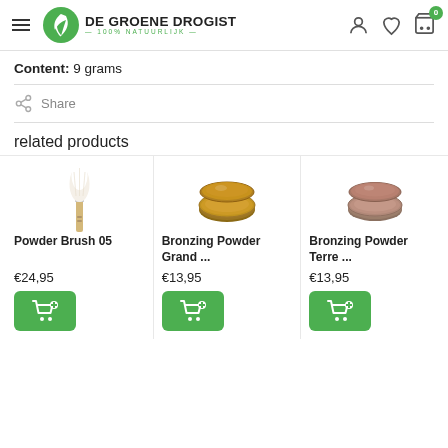De Groene Drogist - 100% Natuurlijk
Content: 9 grams
Share
related products
[Figure (photo): Powder Brush 05 product image - a makeup brush with white bristles]
Powder Brush 05
€24,95
[Figure (photo): Bronzing Powder Grand ... product image - a round compact powder]
Bronzing Powder Grand ...
€13,95
[Figure (photo): Bronzing Powder Terre ... product image - a round compact powder]
Bronzing Powder Terre ...
€13,95